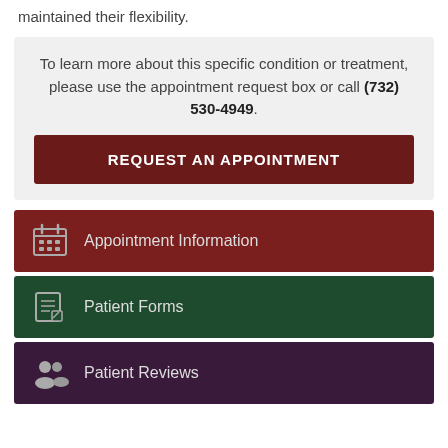maintained their flexibility.
To learn more about this specific condition or treatment, please use the appointment request box or call (732) 530-4949.
REQUEST AN APPOINTMENT
Appointment Information
Patient Forms
Patient Reviews